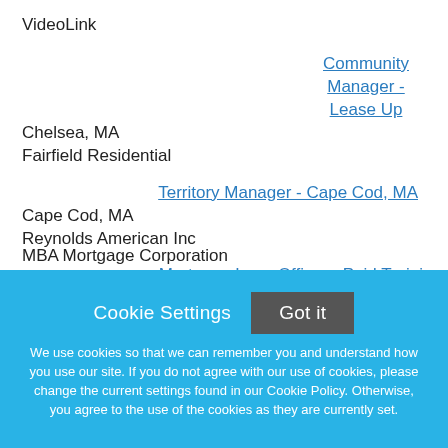VideoLink
Community Manager - Lease Up
Chelsea, MA
Fairfield Residential
Territory Manager - Cape Cod, MA
Cape Cod, MA
Reynolds American Inc
Mortgage Loan Officer - Paid Training Program
Quincy, MA
MBA Mortgage Corporation (partially cut off)
Cookie Settings  Got it

We use cookies so that we can remember you and understand how you use our site. If you do not agree with our use of cookies, please change the current settings found in our Cookie Policy. Otherwise, you agree to the use of the cookies as they are currently set.